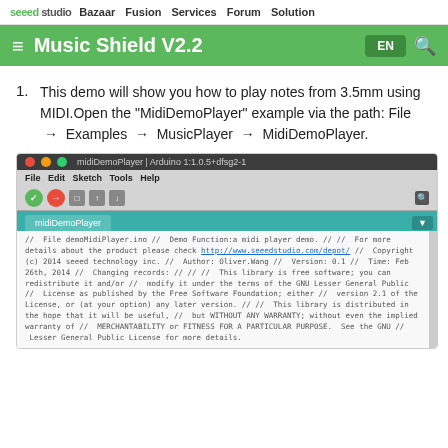seeed studio  Bazaar  Fusion  Services  Forum  Solution
Music Shield V2.2
This demo will show you how to play notes from 3.5mm using MIDI.Open the "MidiDemoPlayer" example via the path: File → Examples → MusicPlayer → MidiDemoPlayer.
[Figure (screenshot): Arduino IDE screenshot showing the midiDemoPlayer sketch open. Title bar reads 'midiDemoPlayer | Arduino 1:1.0.5+dfsg2-1'. Menu bar shows File Edit Sketch Tools Help. Code area shows commented header with file name demoMidiPlayer.ino, demo description, link to http://www.seeedstudio.com/depot/, copyright 2014 seeed technology inc., Author Oliver.Wang, Version 0.1, Time Feb 26th 2014, Changing records, and LGPL license text.]